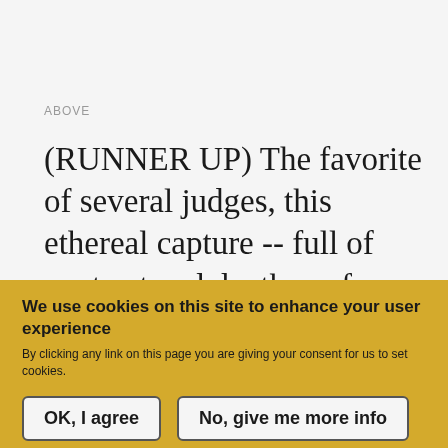ABOVE
(RUNNER UP) The favorite of several judges, this ethereal capture -- full of contrast and depth -- of a wild 'redside' rainbow trout from Oregon's Mackenzie River is one of those images you can't look
We use cookies on this site to enhance your user experience
By clicking any link on this page you are giving your consent for us to set cookies.
OK, I agree
No, give me more info